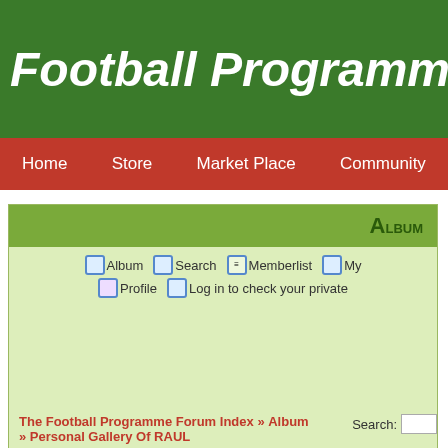Football Programme Cent
Home  Store  Market Place  Community
Album
Album  Search  Memberlist  My  Profile  Log in to check your private
The Football Programme Forum Index » Album » Personal Gallery Of RAUL  Search:
Image (4).jpeg
Slide Show Delay: 5 Sec  S